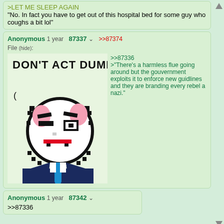>LET ME SLEEP AGAIN
"No. In fact you have to get out of this hospital bed for some guy who coughs a bit lol"
Anonymous 1 year 87337 >>87374
File (hide):
>>87336
>"There's a harmless flue going around but the gouvernment exploits it to enforce new guidlines and they are branding every rebel a nazi."
[Figure (illustration): Pixel art style illustration of a figure with a round white face wearing a dark suit and blue tie, with text 'DON'T ACT DUMB' above]
Anonymous 1 year 87342
>>87336